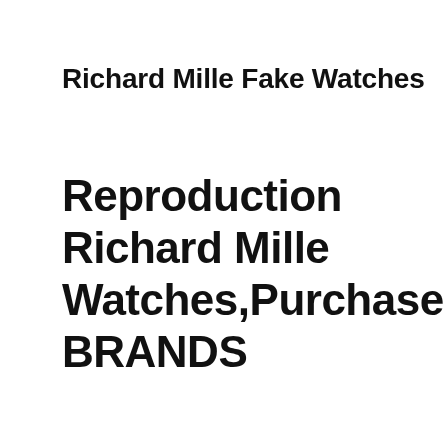Richard Mille Fake Watches
Reproduction Richard Mille Watches,Purchase BRANDS